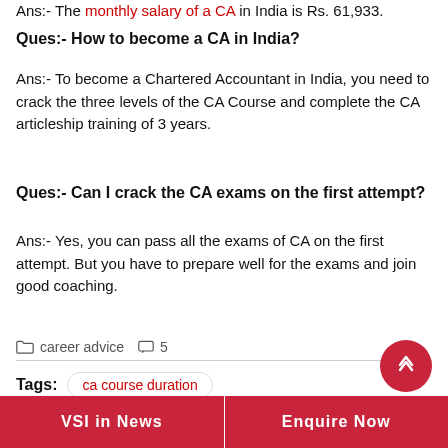Ans:- The monthly salary of a CA in India is Rs. 61,933.
Ques:- How to become a CA in India?
Ans:- To become a Chartered Accountant in India, you need to crack the three levels of the CA Course and complete the CA articleship training of 3 years.
Ques:- Can I crack the CA exams on the first attempt?
Ans:- Yes, you can pass all the exams of CA on the first attempt. But you have to prepare well for the exams and join good coaching.
career advice  5
Tags:  ca course duration
VSI in News    Enquire Now